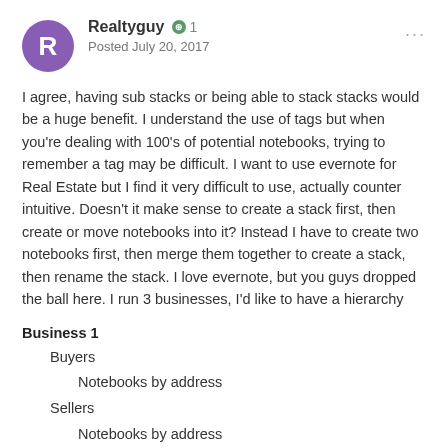Realtyguy +1 Posted July 20, 2017
I agree, having sub stacks or being able to stack stacks would be a huge benefit. I understand the use of tags but when you're dealing with 100's of potential notebooks, trying to remember a tag may be difficult. I want to use evernote for Real Estate but I find it very difficult to use, actually counter intuitive. Doesn't it make sense to create a stack first, then create or move notebooks into it? Instead I have to create two notebooks first, then merge them together to create a stack, then rename the stack. I love evernote, but you guys dropped the ball here. I run 3 businesses, I'd like to have a hierarchy
Business 1
Buyers
Notebooks by address
Sellers
Notebooks by address